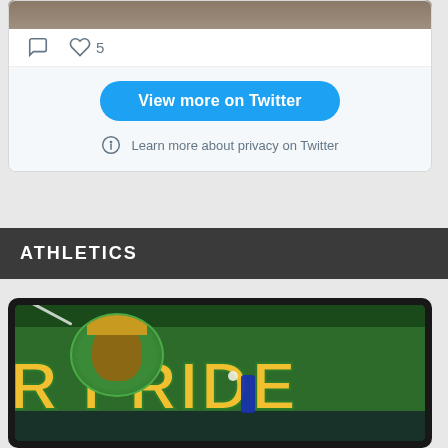[Figure (photo): Top portion of a sports team photo (volleyball team) shown as cropped image at top of Twitter embed card]
[Figure (screenshot): Twitter embed widget showing a tweet with a sports photo, comment and like icons (5 likes), a blue 'View more on Twitter' button, and a privacy info notice]
5
View more on Twitter
Learn more about privacy on Twitter
ATHLETICS
[Figure (photo): Athletics section showing a volleyball game inside a gymnasium with a green background banner reading 'WARRIOR PRIDE' and a Trojan/Spartan warrior mascot logo; players and crowd visible]